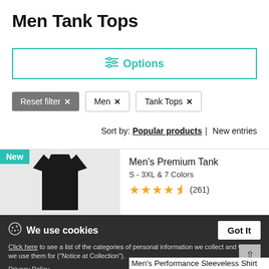Men Tank Tops
⚙ Options
Reset filter ✕  Men ✕  Tank Tops ✕
Sort by: Popular products | New entries
[Figure (photo): Black men's premium tank top on light gray background with 'New' badge]
Men's Premium Tank
S - 3XL & 7 Colors
★★★★½ (261)
We use cookies  [Got It button]
Click here to see a list of the categories of personal information we collect and what we use them for ("Notice at Collection").
Privacy Policy
Do Not Sell My Personal Information
By using this website, I agree to the Terms and Conditions
Men's Performance Sleeveless Shirt